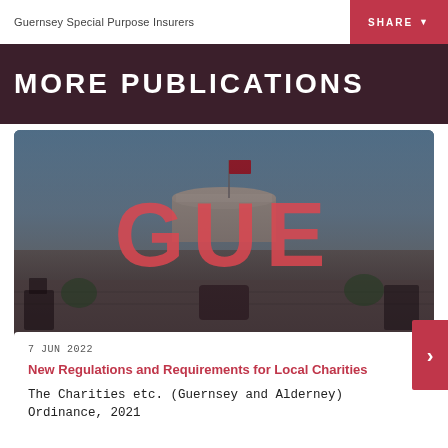Guernsey Special Purpose Insurers
MORE PUBLICATIONS
[Figure (photo): Outdoor scene of a stone castle or fort with a red flag on top, a blue sky, and stone walls with archway entrances. A large semi-transparent red 'GUE' text overlays the center of the image.]
7 JUN 2022
New Regulations and Requirements for Local Charities
The Charities etc. (Guernsey and Alderney) Ordinance, 2021